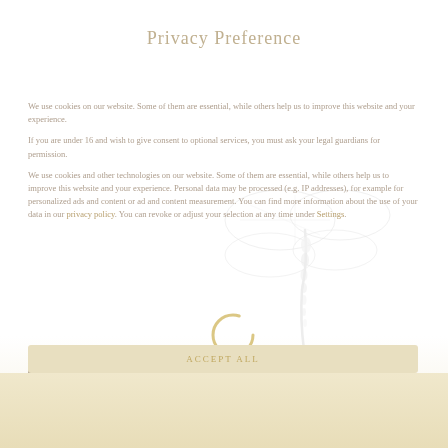Privacy Preference
We use cookies on our website. Some of them are essential, while others help us to improve this website and your experience.
If you are under 16 and wish to give consent to optional services, you must ask your legal guardians for permission.
We use cookies and other technologies on our website. Some of them are essential, while others help us to improve this website and your experience. Personal data may be processed (e.g. IP addresses), for example for personalized ads and content or ad and content measurement. You can find more information about the use of your data in our privacy policy. You can revoke or adjust your selection at any time under Settings.
[Figure (illustration): Semi-transparent dragonfly illustration overlaying text]
[Figure (infographic): Gold/yellow partial circle loading ring graphic]
Essential
External Media
ACCEPT ALL